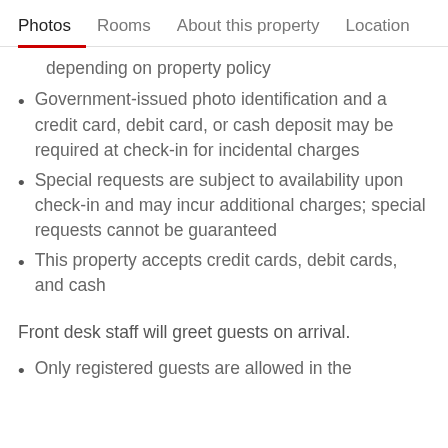Photos   Rooms   About this property   Location
depending on property policy
Government-issued photo identification and a credit card, debit card, or cash deposit may be required at check-in for incidental charges
Special requests are subject to availability upon check-in and may incur additional charges; special requests cannot be guaranteed
This property accepts credit cards, debit cards, and cash
Front desk staff will greet guests on arrival.
Only registered guests are allowed in the